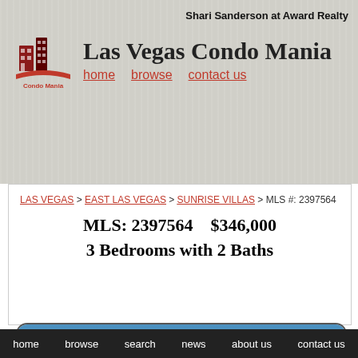Shari Sanderson at Award Realty
Las Vegas Condo Mania
home   browse   contact us
LAS VEGAS > EAST LAS VEGAS > SUNRISE VILLAS > MLS #: 2397564
MLS: 2397564    $346,000
3 Bedrooms with 2 Baths
[Figure (photo): Exterior photo of a single-story residential home with tile roof, two garage doors, and desert landscaping under a blue sky]
home   browse   search   news   about us   contact us